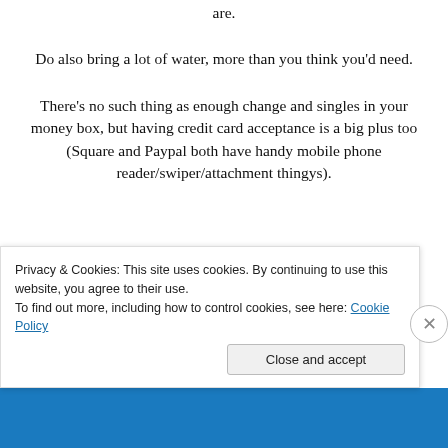are.
Do also bring a lot of water, more than you think you'd need.
There's no such thing as enough change and singles in your money box, but having credit card acceptance is a big plus too (Square and Paypal both have handy mobile phone reader/swiper/attachment thingys).
Find shade. It makes you happier. No matter how hot it is, when people are in bright sunlight they get…squinty. It
Privacy & Cookies: This site uses cookies. By continuing to use this website, you agree to their use.
To find out more, including how to control cookies, see here: Cookie Policy